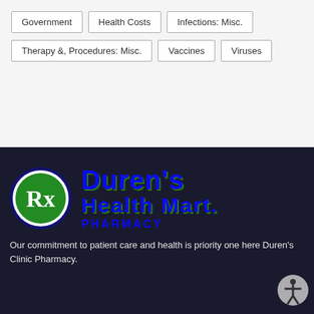Government
Health Costs
Infections: Misc.
Therapy &, Procedures: Misc.
Vaccines
Viruses
[Figure (logo): Duren's Health Mart Pharmacy logo: green Rx circle on left, blue bold text 'Duren's Health Mart. PHARMACY' on right, on dark background]
Our commitment to patient care and health is priority one here Duren's Clinic Pharmacy.